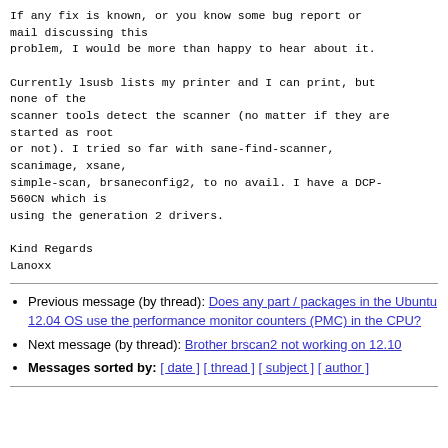If any fix is known, or you know some bug report or mail discussing this
problem, I would be more than happy to hear about it.

Currently lsusb lists my printer and I can print, but none of the
scanner tools detect the scanner (no matter if they are started as root
or not). I tried so far with sane-find-scanner, scanimage, xsane,
simple-scan, brsaneconfig2, to no avail. I have a DCP-560CN which is
using the generation 2 drivers.

Kind Regards
Lanoxx
Previous message (by thread): Does any part / packages in the Ubuntu 12.04 OS use the performance monitor counters (PMC) in the CPU?
Next message (by thread): Brother brscan2 not working on 12.10
Messages sorted by: [ date ] [ thread ] [ subject ] [ author ]